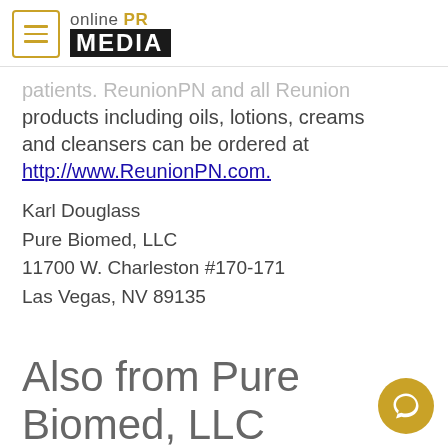online PR MEDIA
patients. ReunionPN and all Reunion products including oils, lotions, creams and cleansers can be ordered at http://www.ReunionPN.com.
Karl Douglass
Pure Biomed, LLC
11700 W. Charleston #170-171
Las Vegas, NV 89135
Also from Pure Biomed, LLC